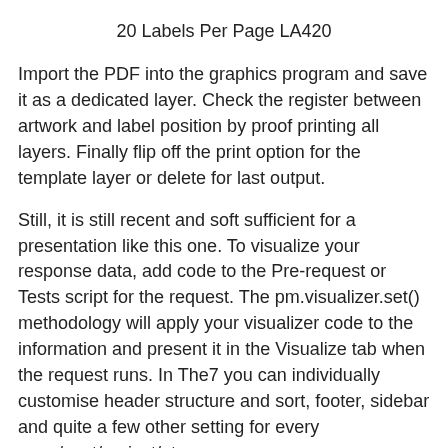20 Labels Per Page LA420
Import the PDF into the graphics program and save it as a dedicated layer. Check the register between artwork and label position by proof printing all layers. Finally flip off the print option for the template layer or delete for last output.
Still, it is still recent and soft sufficient for a presentation like this one. To visualize your response data, add code to the Pre-request or Tests script for the request. The pm.visualizer.set() methodology will apply your visualizer code to the information and present it in the Visualize tab when the request runs. In The7 you can individually customise header structure and sort, footer, sidebar and quite a few other setting for every page/post/project/etc.
Social Media Graphics Browse templates for every platform. Always feed your labels in Portrait as that is the direction of the grain and ensures the strength of